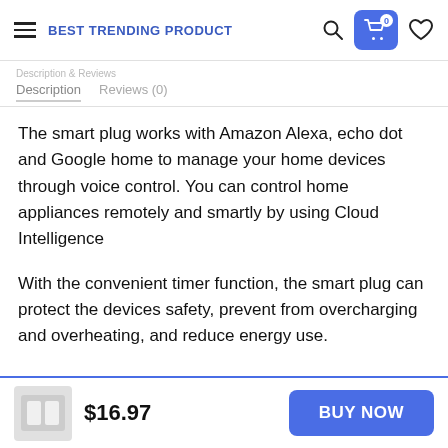BEST TRENDING PRODUCT
Description   Reviews (0)
The smart plug works with Amazon Alexa, echo dot and Google home to manage your home devices through voice control. You can control home appliances remotely and smartly by using Cloud Intelligence
With the convenient timer function, the smart plug can protect the devices safety, prevent from overcharging and overheating, and reduce energy use.
$16.97   BUY NOW